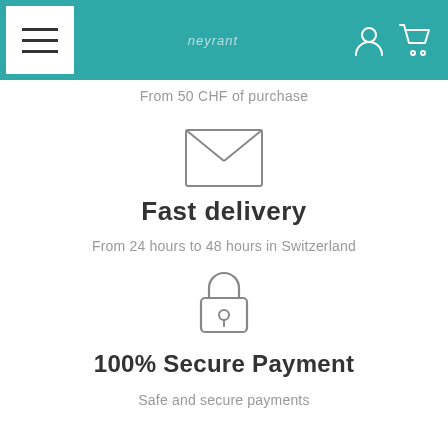Navigation header with hamburger menu, logo, user and cart icons
From 50 CHF of purchase
[Figure (illustration): Envelope icon (outline style) representing shipping/delivery]
Fast delivery
From 24 hours to 48 hours in Switzerland
[Figure (illustration): Padlock icon (outline style) representing secure payment]
100% Secure Payment
Safe and secure payments